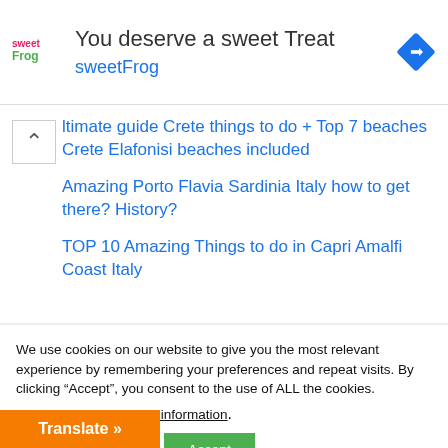[Figure (infographic): sweetFrog ad banner with logo, text 'You deserve a sweet Treat', 'sweetFrog', and a blue diamond navigation icon]
ltimate guide Crete things to do + Top 7 beaches Crete Elafonisi beaches included
Amazing Porto Flavia Sardinia Italy how to get there? History?
TOP 10 Amazing Things to do in Capri Amalfi Coast Italy
We use cookies on our website to give you the most relevant experience by remembering your preferences and repeat visits. By clicking “Accept”, you consent to the use of ALL the cookies.
Do not sell my personal information.